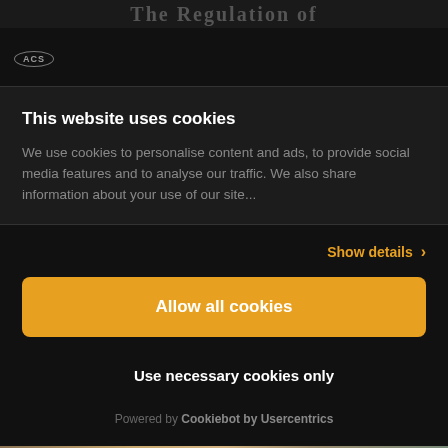[Figure (screenshot): Partially visible page title text behind modal overlay, dark background]
[Figure (logo): ACS logo in oval border in modal header]
This website uses cookies
We use cookies to personalise content and ads, to provide social media features and to analyse our traffic. We also share information about your use of our site...
Show details >
Allow all cookies
Use necessary cookies only
Powered by Cookiebot by Usercentrics